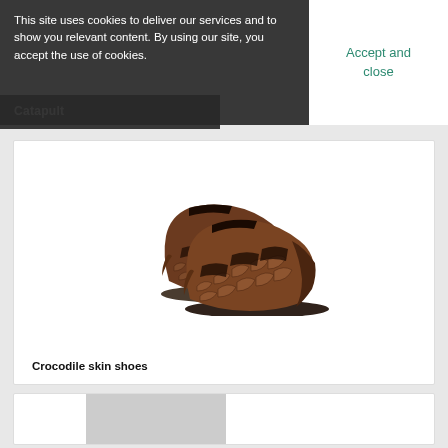This site uses cookies to deliver our services and to show you relevant content. By using our site, you accept the use of cookies.
Accept and close
Catapult
[Figure (photo): A pair of brown crocodile skin shoes (fisherman/sandal style with closed toe and cutout straps), photographed on white background]
Crocodile skin shoes
[Figure (photo): Partial view of a second product card with a grey rectangle in the center, partially visible at the bottom of the page]